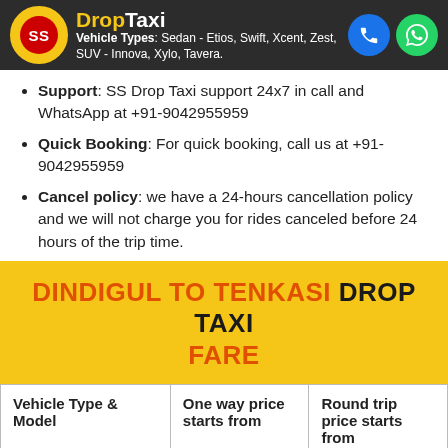SS DropTaxi | Vehicle Types: Sedan - Etios, Swift, Xcent, Zest, SUV - Innova, Xylo, Tavera.
Support: SS Drop Taxi support 24x7 in call and WhatsApp at +91-9042955959
Quick Booking: For quick booking, call us at +91-9042955959
Cancel policy: we have a 24-hours cancellation policy and we will not charge you for rides canceled before 24 hours of the trip time.
DINDIGUL TO TENKASI DROP TAXI FARE
| Vehicle Type & Model | One way price starts from | Round trip price starts from |
| --- | --- | --- |